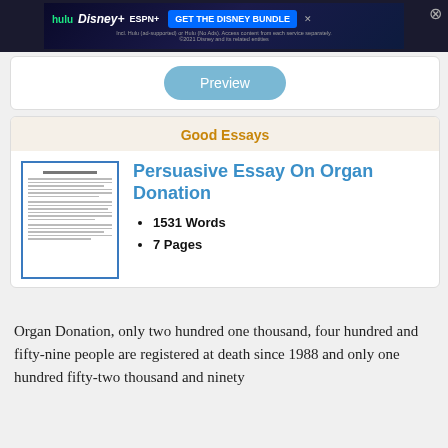[Figure (screenshot): Disney Bundle advertisement banner with Hulu, Disney+, ESPN+ logos and 'GET THE DISNEY BUNDLE' call to action button]
Preview
Good Essays
Persuasive Essay On Organ Donation
1531 Words
7 Pages
Organ Donation, only two hundred one thousand, four hundred and fifty-nine people are registered at death since 1988 and only one hundred fifty-two thousand and ninety